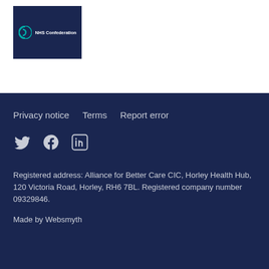[Figure (logo): NHS Confederation logo: dark navy background with a circular icon and text 'NHS Confederation' in white]
Privacy notice   Terms   Report error
[Twitter] [Facebook] [LinkedIn]
Registered address: Alliance for Better Care CIC, Horley Health Hub, 120 Victoria Road, Horley, RH6 7BL. Registered company number 09329846.
Made by Websmyth